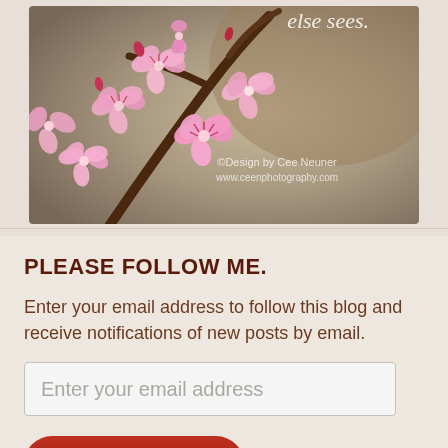[Figure (photo): Cherry blossom flowers (pink) on a branch against a blurred brownish-grey background. Watermark text reads: ©Design by Cee Neuner, www.ceenphotography.com. Partial text visible at top right: 'else sees.']
PLEASE FOLLOW ME.
Enter your email address to follow this blog and receive notifications of new posts by email.
Enter your email address
FOLLOW CEE